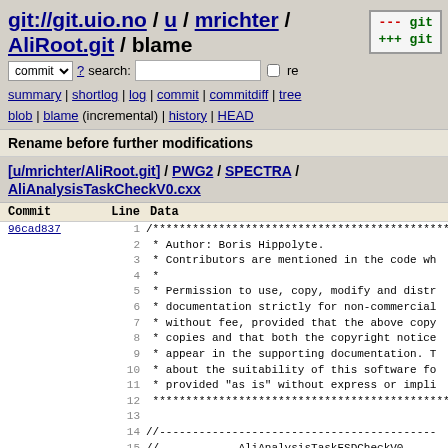git://git.uio.no / u / mrichter / AliRoot.git / blame
commit ? search: re
summary | shortlog | log | commit | commitdiff | tree blob | blame (incremental) | history | HEAD
Rename before further modifications
[u/mrichter/AliRoot.git] / PWG2 / SPECTRA / AliAnalysisTaskCheckV0.cxx
| Commit | Line | Data |
| --- | --- | --- |
| 96cad837 | 1 | /*********************************************** |
|  | 2 |   * Author: Boris Hippolyte. |
|  | 3 |   * Contributors are mentioned in the code wh |
|  | 4 |   * |
|  | 5 |   * Permission to use, copy, modify and distr |
|  | 6 |   * documentation strictly for non-commercial |
|  | 7 |   * without fee, provided that the above copy |
|  | 8 |   * copies and that both the copyright notice |
|  | 9 |   * appear in the supporting documentation. T |
|  | 10 |   * about the suitability of this software fo |
|  | 11 |   * provided "as is" without express or impli |
|  | 12 |   ********************************************** |
|  | 13 |  |
|  | 14 | //----------------------------------------- |
|  | 15 | //              AliAnalysisTaskESDCheckV0 |
|  | 16 | //   This task is for QAing the V0s |
|  | 17 | //   Origin: B.H. Nov2007, hippo... |